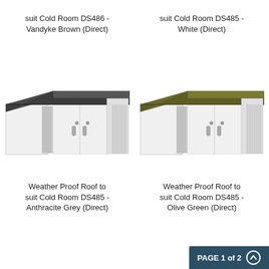suit Cold Room DS486 - Vandyke Brown (Direct)
suit Cold Room DS485 - White (Direct)
[Figure (photo): Weather proof roof panel with dark anthracite grey top surface on a white cold room unit, viewed from corner angle]
[Figure (photo): Weather proof roof panel with olive green top surface on a white cold room unit, viewed from corner angle]
Weather Proof Roof to suit Cold Room DS485 - Anthracite Grey (Direct)
Weather Proof Roof to suit Cold Room DS485 - Olive Green (Direct)
PAGE 1 of 2